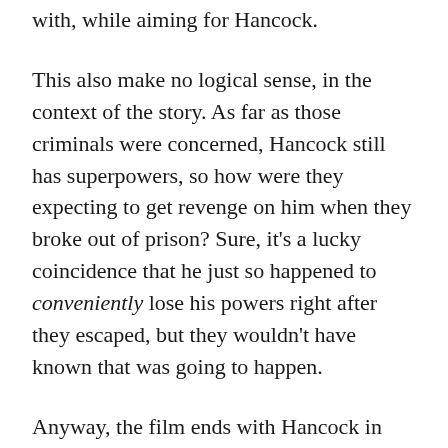with, while aiming for Hancock.
This also make no logical sense, in the context of the story. As far as those criminals were concerned, Hancock still has superpowers, so how were they expecting to get revenge on him when they broke out of prison? Sure, it's a lucky coincidence that he just so happened to conveniently lose his powers right after they escaped, but they wouldn't have known that was going to happen.
Anyway, the film ends with Hancock in New York, doing his superhero thing, while Mary stays